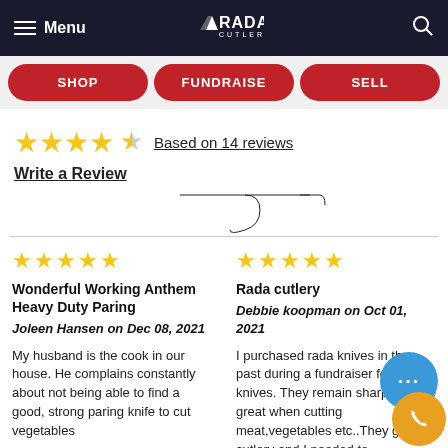Menu | RADA CUTLERY
SHOP
FUNDRAISE
SELL
Based on 14 reviews
Write a Review
★★★★★ Wonderful Working Anthem Heavy Duty Paring
Joleen Hansen on Dec 08, 2021
My husband is the cook in our house. He complains constantly about not being able to find a good, strong paring knife to cut vegetables
★★★★★ Rada cutlery
Debbie koopman on Oct 01, 2021
I purchased rada knives in the past during a fundraiser for the knives. They remain sharp and are great when cutting meat,vegetables etc..They great cutlery and I needed to